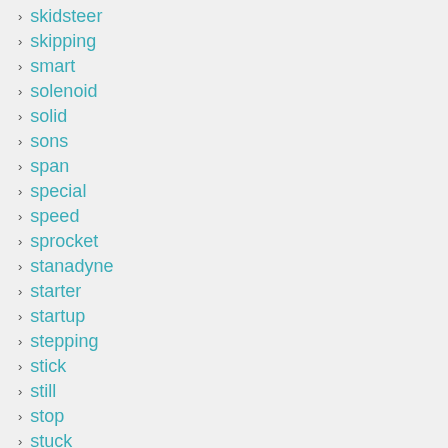skidsteer
skipping
smart
solenoid
solid
sons
span
special
speed
sprocket
stanadyne
starter
startup
stepping
stick
still
stop
stuck
sunny